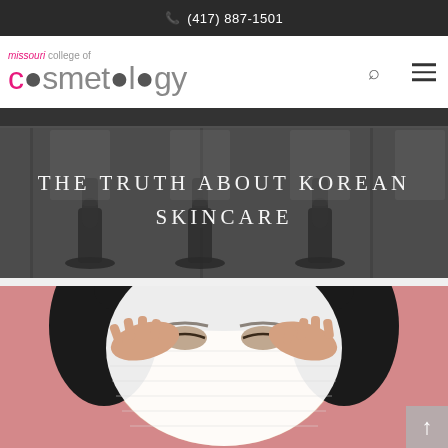(417) 887-1501
[Figure (logo): Missouri College of Cosmetology logo with pink and grey text]
[Figure (photo): Black and white photo of a salon interior with styling chairs, used as hero banner background. White text overlay reads 'THE TRUTH ABOUT KOREAN SKINCARE']
THE TRUTH ABOUT KOREAN SKINCARE
[Figure (photo): Woman applying a white sheet face mask, photographed against a pink background]